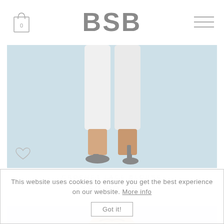BSB
[Figure (photo): Fashion product photo showing lower body of model wearing white cropped pants and grey heels against a light blue background]
CROCHET LACE BLOUSE
350.00 LEI
[Figure (photo): Fashion product photo showing upper body/face of model against a light blue background]
This website uses cookies to ensure you get the best experience on our website. More info Got it!